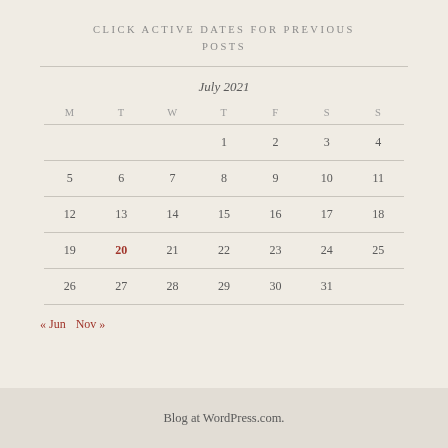CLICK ACTIVE DATES FOR PREVIOUS POSTS
| M | T | W | T | F | S | S |
| --- | --- | --- | --- | --- | --- | --- |
|  |  |  | 1 | 2 | 3 | 4 |
| 5 | 6 | 7 | 8 | 9 | 10 | 11 |
| 12 | 13 | 14 | 15 | 16 | 17 | 18 |
| 19 | 20 | 21 | 22 | 23 | 24 | 25 |
| 26 | 27 | 28 | 29 | 30 | 31 |  |
« Jun  Nov »
Blog at WordPress.com.